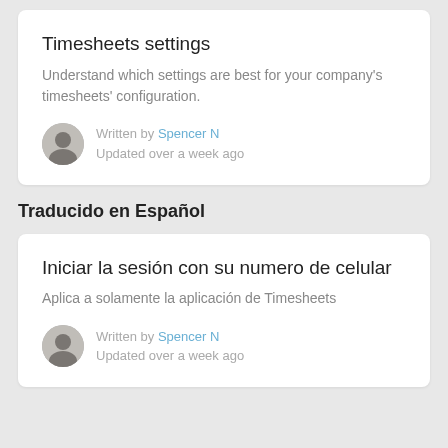Timesheets settings
Understand which settings are best for your company's timesheets' configuration.
Written by Spencer N
Updated over a week ago
Traducido en Español
Iniciar la sesión con su numero de celular
Aplica a solamente la aplicación de Timesheets
Written by Spencer N
Updated over a week ago